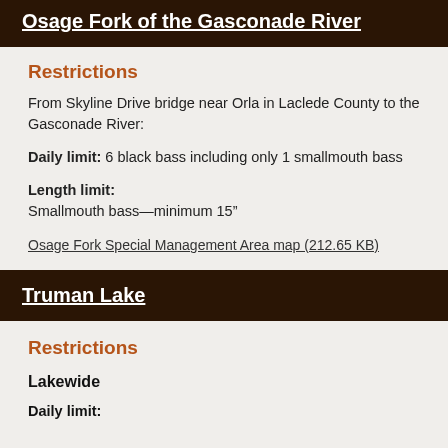Osage Fork of the Gasconade River
Restrictions
From Skyline Drive bridge near Orla in Laclede County to the Gasconade River:
Daily limit: 6 black bass including only 1 smallmouth bass
Length limit:
Smallmouth bass—minimum 15”
Osage Fork Special Management Area map (212.65 KB)
Truman Lake
Restrictions
Lakewide
Daily limit: